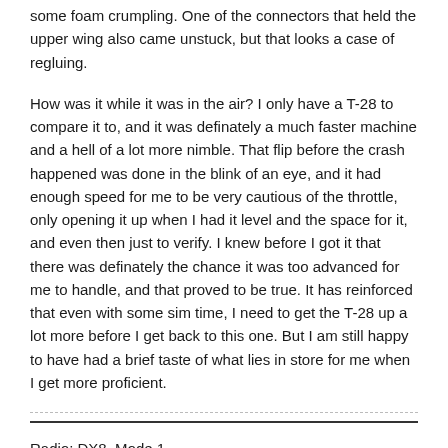some foam crumpling. One of the connectors that held the upper wing also came unstuck, but that looks a case of regluing.
How was it while it was in the air? I only have a T-28 to compare it to, and it was definately a much faster machine and a hell of a lot more nimble. That flip before the crash happened was done in the blink of an eye, and it had enough speed for me to be very cautious of the throttle, only opening it up when I had it level and the space for it, and even then just to verify. I knew before I got it that there was definately the chance it was too advanced for me to handle, and that proved to be true. It has reinforced that even with some sim time, I need to get the T-28 up a lot more before I get back to this one. But I am still happy to have had a brief taste of what lies in store for me when I get more proficient.
Radio: DX8, Mode 1
Blu-Baby (decided to go green and hug a tree, in repairs)
Parkzone T-28 Trojan (pilot looks asleep but plane ready to go)
E-Flite UMX Beast (Barrel roll you say? But I did 10 in a row while